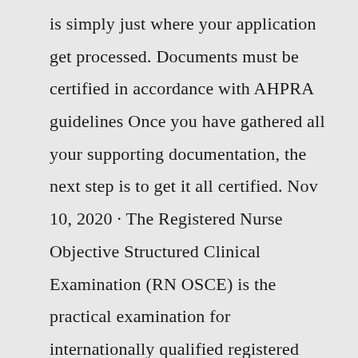is simply just where your application get processed. Documents must be certified in accordance with AHPRA guidelines Once you have gathered all your supporting documentation, the next step is to get it all certified. Nov 10, 2020 · The Registered Nurse Objective Structured Clinical Examination (RN OSCE) is the practical examination for internationally qualified registered nurses seeking registration in